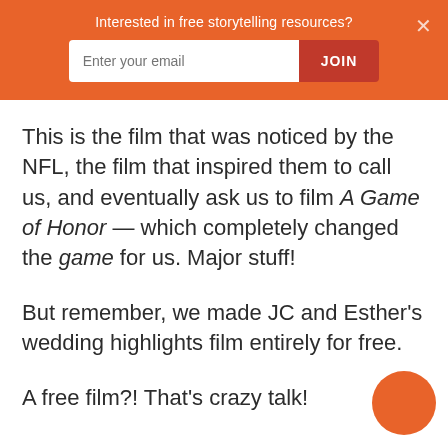[Figure (screenshot): Orange banner with email signup form. Text reads 'Interested in free storytelling resources?' with an email input field and JOIN button, and a close X button.]
This is the film that was noticed by the NFL, the film that inspired them to call us, and eventually ask us to film A Game of Honor — which completely changed the game for us. Major stuff!
But remember, we made JC and Esther's wedding highlights film entirely for free.
A free film?! That's crazy talk!